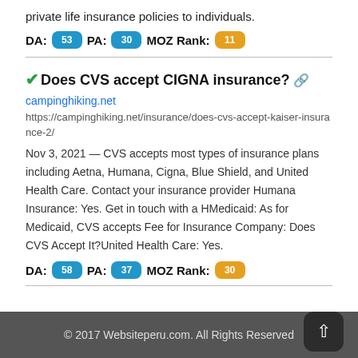private life insurance policies to individuals.
DA: 53 PA: 30 MOZ Rank: 11
✔Does CVS accept CIGNA insurance? 🔗
campinghiking.net
https://campinghiking.net/insurance/does-cvs-accept-kaiser-insurance-2/
Nov 3, 2021 — CVS accepts most types of insurance plans including Aetna, Humana, Cigna, Blue Shield, and United Health Care. Contact your insurance provider Humana Insurance: Yes. Get in touch with a HMedicaid: As for Medicaid, CVS accepts Fee for Insurance Company: Does CVS Accept It?United Health Care: Yes.
DA: 58 PA: 37 MOZ Rank: 30
© 2017 Websiteperu.com. All Rights Reserved